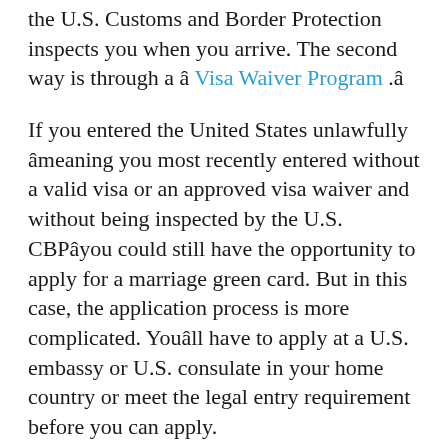the U.S. Customs and Border Protection inspects you when you arrive. The second way is through a â Visa Waiver Program .â
If you entered the United States unlawfully âmeaning you most recently entered without a valid visa or an approved visa waiver and without being inspected by the U.S. CBPâyou could still have the opportunity to apply for a marriage green card. But in this case, the application process is more complicated. Youâll have to apply at a U.S. embassy or U.S. consulate in your home country or meet the legal entry requirement before you can apply.
If I Served In The Us Armed